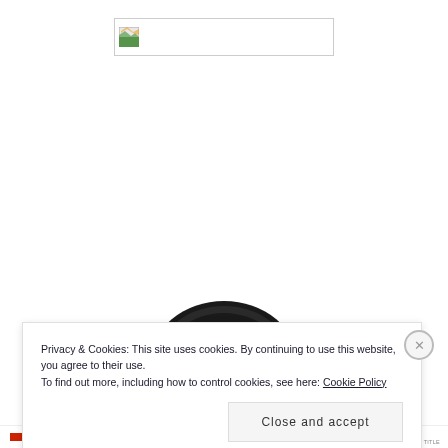[Figure (logo): Website logo placeholder image with broken image icon in top-left, centered near top of page]
[Figure (illustration): Dark black semi-circular dome shape, partially visible, centered in page]
Privacy & Cookies: This site uses cookies. By continuing to use this website, you agree to their use.
To find out more, including how to control cookies, see here: Cookie Policy
Close and accept